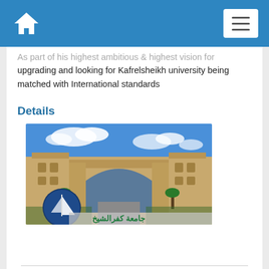Navigation bar with home icon and menu button
As part of his highest ambitious & highest vision for upgrading and looking for Kafrelsheikh university being matched with International standards
Details
[Figure (photo): Photograph of Kafrelsheikh University main gate — a large sandstone arch entrance with two flanking towers, blue sky with clouds, palm trees at base. University logo (sailboat on navy circle) in lower-left corner. Arabic text 'جامعة كفرالشيخ' on a translucent banner at the bottom.]
Nabadaat AlKhairia
Date:24/8/2017